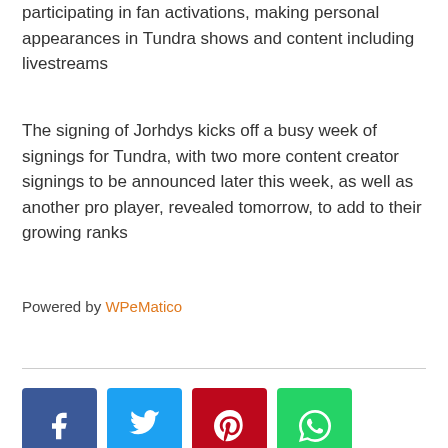participating in fan activations, making personal appearances in Tundra shows and content including livestreams
The signing of Jorhdys kicks off a busy week of signings for Tundra, with two more content creator signings to be announced later this week, as well as another pro player, revealed tomorrow, to add to their growing ranks
Powered by WPeMatico
[Figure (infographic): Row of four social media share buttons: Facebook (blue), Twitter (light blue), Pinterest (red), WhatsApp (green)]